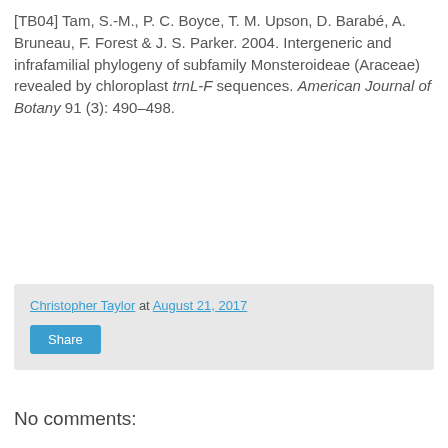[TB04] Tam, S.-M., P. C. Boyce, T. M. Upson, D. Barabé, A. Bruneau, F. Forest & J. S. Parker. 2004. Intergeneric and infrafamilial phylogeny of subfamily Monsteroideae (Araceae) revealed by chloroplast trnL-F sequences. American Journal of Botany 91 (3): 490–498.
Christopher Taylor at August 21, 2017
Share
No comments:
Post a Comment
Markup Key:
- <b>bold</b> = bold
- <i>italic</i> = italic
- <a href="http://www.fieldofscience.com/">FoS</a> = FoS